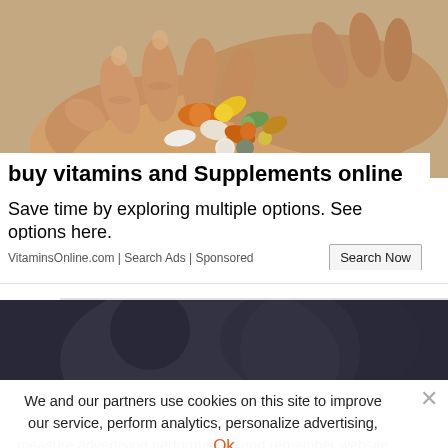[Figure (photo): Two hands cupped together holding an assortment of vitamins and supplement capsules, pills in various colors including orange gel caps, yellow tablets, white pills, and green capsules. Warm skin-toned background.]
buy vitamins and Supplements online
Save time by exploring multiple options. See options here.
VitaminsOnline.com | Search Ads | Sponsored
[Figure (photo): Dark blurred photo, partial view of a scene with dark blue/grey tones.]
We and our partners use cookies on this site to improve our service, perform analytics, personalize advertising, measure advertising performance, and remember website preferences.
Ok